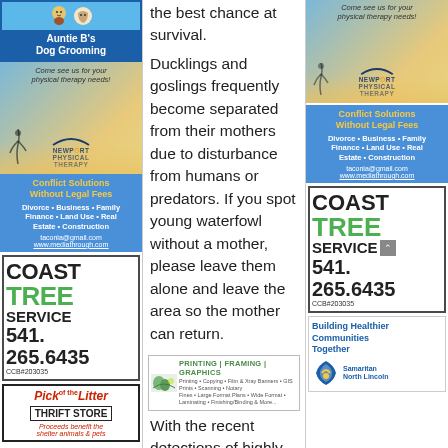[Figure (illustration): Auntie B's Dog Grooming ad with blue header and dog/grooming images]
[Figure (photo): Newport Physical Therapy ad with person silhouette and sunset, left column]
[Figure (infographic): Conflict Solutions Without Legal Fees ad - blue background, left column]
[Figure (infographic): Coast Tree Service ad with phone number 541.265.6435, CCB#203035, left column]
[Figure (logo): Pick of the Litter Thrift Store ad - proceeds benefit shelter animals & pets]
the best chance at survival.
Ducklings and goslings frequently become separated from their mothers due to disturbance from humans or predators. If you spot young waterfowl without a mother, please leave them alone and leave the area so the mother can return.
[Figure (logo): Pacific printing framing graphics ad banner]
With the recent detections of highly pathogenic avian
[Figure (photo): Newport Physical Therapy ad with person silhouette and sunset, right column]
[Figure (infographic): Conflict Solutions Without Legal Fees ad - blue background, right column]
[Figure (infographic): Coast Tree Service ad with phone number 541.265.6435, CCB#203035, right column]
[Figure (infographic): Building Healthier Communities Together - Samaritan North Lincoln ad]